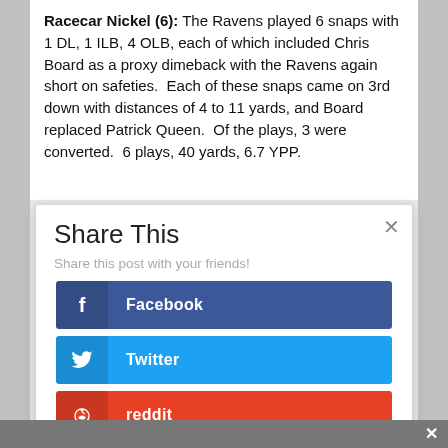Racecar Nickel (6): The Ravens played 6 snaps with 1 DL, 1 ILB, 4 OLB, each of which included Chris Board as a proxy dimeback with the Ravens again short on safeties.  Each of these snaps came on 3rd down with distances of 4 to 11 yards, and Board replaced Patrick Queen.  Of the plays, 3 were converted.  6 plays, 40 yards, 6.7 YPP.
Share This
Share this post with your friends!
Facebook
Twitter
reddit